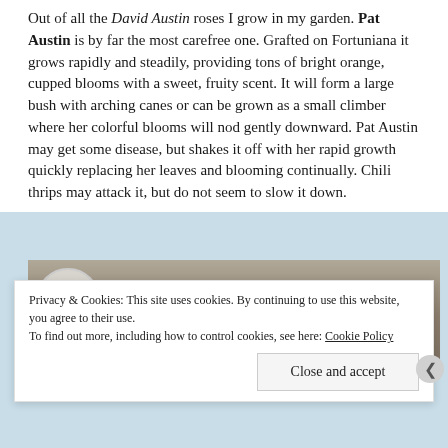Out of all the David Austin roses I grow in my garden. Pat Austin is by far the most carefree one. Grafted on Fortuniana it grows rapidly and steadily, providing tons of bright orange, cupped blooms with a sweet, fruity scent. It will form a large bush with arching canes or can be grown as a small climber where her colorful blooms will nod gently downward. Pat Austin may get some disease, but shakes it off with her rapid growth quickly replacing her leaves and blooming continually. Chili thrips may attack it, but do not seem to slow it down.
[Figure (photo): A partially visible photograph showing a textured beige/brown surface with a white circular object (possibly a pot or bowl) in the upper left corner.]
Privacy & Cookies: This site uses cookies. By continuing to use this website, you agree to their use. To find out more, including how to control cookies, see here: Cookie Policy
Close and accept